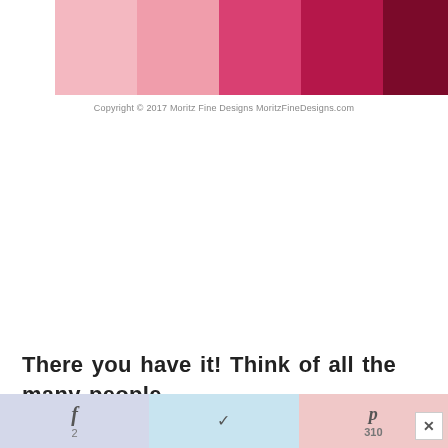[Figure (illustration): A row of six color swatches showing pink to dark red gradient, plus a heart icons image at the end. Colors from left to right: light pink, medium pink, hot pink, crimson, dark red, hearts illustration. Copyright notice below: Copyright © 2017 Moritz Fine Designs MoritzFineDesigns.com]
Copyright © 2017 Moritz Fine Designs MoritzFineDesigns.com
There you have it! Think of all the many people
you could give this Valentine's Day Stackable